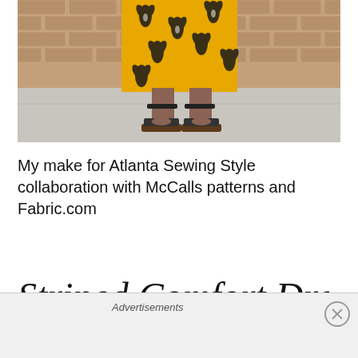[Figure (photo): Lower half of a person wearing a yellow floral midi dress with black and white leaf pattern and black strappy heeled sandals, standing on a sidewalk in front of a brick wall.]
My make for Atlanta Sewing Style collaboration with McCalls patterns and Fabric.com
Striped Comfort Dress
Advertisements